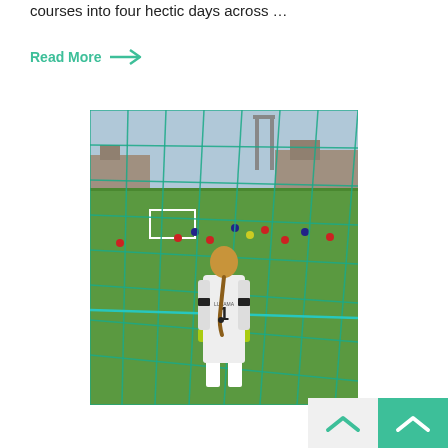courses into four hectic days across …
Read More →
[Figure (photo): A young girl goalkeeper in a white kit with number 1 on her back, standing behind a green goal net watching a youth football/soccer match in progress on a grass pitch.]